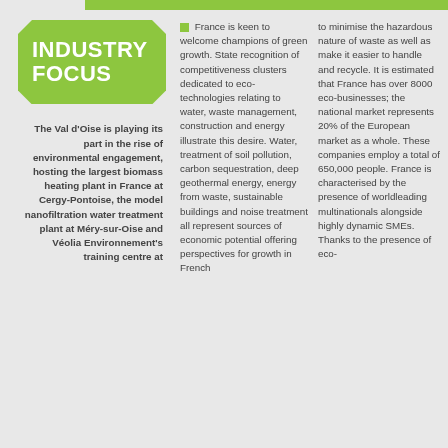INDUSTRY FOCUS
The Val d'Oise is playing its part in the rise of environmental engagement, hosting the largest biomass heating plant in France at Cergy-Pontoise, the model nanofiltration water treatment plant at Méry-sur-Oise and Véolia Environnement's training centre at
France is keen to welcome champions of green growth. State recognition of competitiveness clusters dedicated to eco-technologies relating to water, waste management, construction and energy illustrate this desire. Water, treatment of soil pollution, carbon sequestration, deep geothermal energy, energy from waste, sustainable buildings and noise treatment all represent sources of economic potential offering perspectives for growth in French
to minimise the hazardous nature of waste as well as make it easier to handle and recycle. It is estimated that France has over 8000 eco-businesses; the national market represents 20% of the European market as a whole. These companies employ a total of 650,000 people. France is characterised by the presence of worldleading multinationals alongside highly dynamic SMEs. Thanks to the presence of eco-